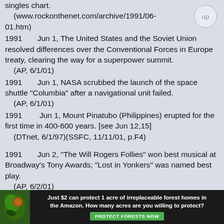singles chart.
    (www.rockonthenet.com/archive/1991/06-01.htm)
1991      Jun 1, The United States and the Soviet Union resolved differences over the Conventional Forces in Europe treaty, clearing the way for a superpower summit.
    (AP, 6/1/01)
1991      Jun 1, NASA scrubbed the launch of the space shuttle "Columbia" after a navigational unit failed.
    (AP, 6/1/01)
1991      Jun 1, Mount Pinatubo (Philippines) erupted for the first time in 400-600 years. [see Jun 12,15]
    (DTnet, 6/1/97)(SSFC, 11/11/01, p.F4)
1991      Jun 2, "The Will Rogers Follies" won best musical at Broadway's Tony Awards; "Lost in Yonkers" was named best play.
    (AP, 6/2/01)
[Figure (other): Advertisement banner: Just $2 can protect 1 acre of irreplaceable forest homes in the Amazon. How many acres are you willing to protect? PROTECT FORESTS NOW]